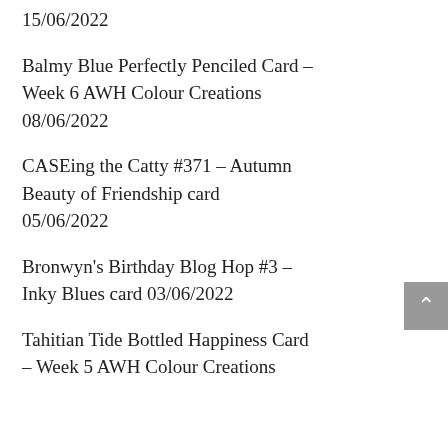15/06/2022
Balmy Blue Perfectly Penciled Card – Week 6 AWH Colour Creations 08/06/2022
CASEing the Catty #371 – Autumn Beauty of Friendship card 05/06/2022
Bronwyn's Birthday Blog Hop #3 – Inky Blues card 03/06/2022
Tahitian Tide Bottled Happiness Card – Week 5 AWH Colour Creations